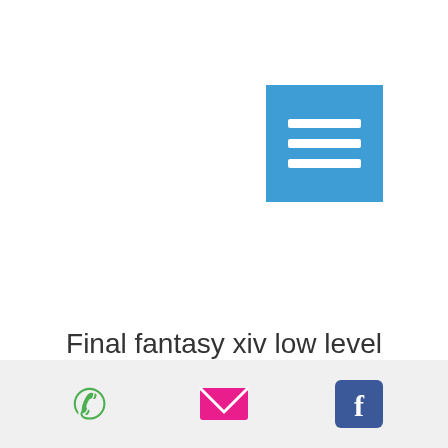[Figure (screenshot): Blue square button with three horizontal white lines (hamburger menu icon)]
Final fantasy xiv low level
[Figure (infographic): Mobile app bottom toolbar with three icons: green phone icon, pink/red email envelope icon, and blue Facebook icon, on a light grey background]